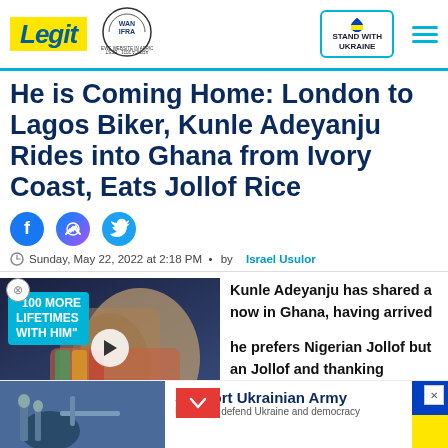Legit | WAN IFRA 2021 Best News Website in Africa | Stand with Ukraine
He is Coming Home: London to Lagos Biker, Kunle Adeyanju Rides into Ghana from Ivory Coast, Eats Jollof Rice
[Figure (other): Social share icons: Facebook, Messenger, Twitter]
Sunday, May 22, 2022 at 2:18 PM · by Israel Usulor
[Figure (screenshot): Video thumbnail with text '100 MORE LIFETIMES WITH HIM' showing two people, play button, and red down-arrow button]
Kunle Adeyanju has shared a now in Ghana, having arrived
he prefers Nigerian Jollof but an Jollof and thanking
[Figure (other): Support Ukrainian Army advertisement banner with Ukrainian flag colors and military image]